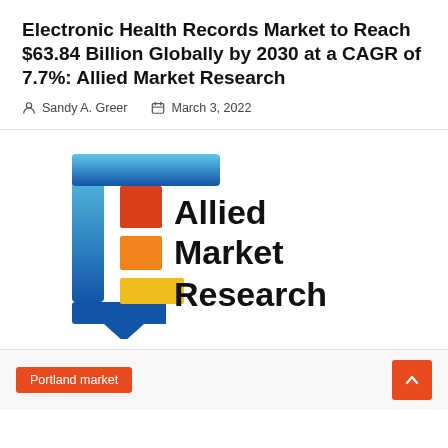Electronic Health Records Market to Reach $63.84 Billion Globally by 2030 at a CAGR of 7.7%: Allied Market Research
Sandy A. Greer   March 3, 2022
[Figure (logo): Allied Market Research logo — blue chat-bubble bracket shape with red, orange, and yellow rectangles beside bold text reading 'Allied Market Research']
Portland market